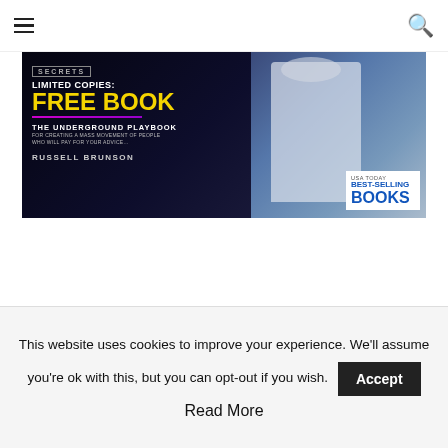≡  🔍
[Figure (photo): Banner advertisement for Russell Brunson's 'The Underground Playbook' book. Dark background on left with text: SECRETS, LIMITED COPIES: FREE BOOK, THE UNDERGROUND PLAYBOOK, RUSSELL BRUNSON. Right side shows a person in a white shirt writing on a whiteboard. Bottom right shows USA TODAY BEST-SELLING BOOKS badge.]
ALL THE MARKETING TOOLS IN ONE PLACE!
This website uses cookies to improve your experience. We'll assume you're ok with this, but you can opt-out if you wish.
Accept
Read More